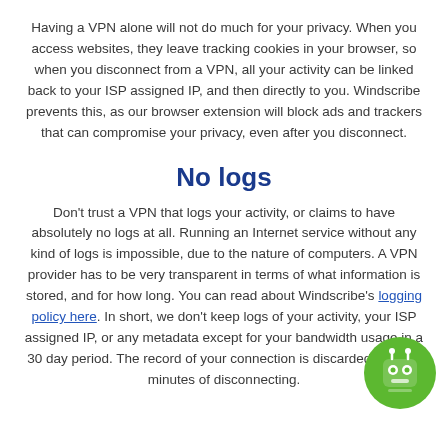Having a VPN alone will not do much for your privacy. When you access websites, they leave tracking cookies in your browser, so when you disconnect from a VPN, all your activity can be linked back to your ISP assigned IP, and then directly to you. Windscribe prevents this, as our browser extension will block ads and trackers that can compromise your privacy, even after you disconnect.
No logs
Don't trust a VPN that logs your activity, or claims to have absolutely no logs at all. Running an Internet service without any kind of logs is impossible, due to the nature of computers. A VPN provider has to be very transparent in terms of what information is stored, and for how long. You can read about Windscribe's logging policy here. In short, we don't keep logs of your activity, your ISP assigned IP, or any metadata except for your bandwidth usage in a 30 day period. The record of your connection is discarded within 3 minutes of disconnecting.
[Figure (illustration): Green circular robot/bot icon with antenna and face, positioned at bottom right corner]